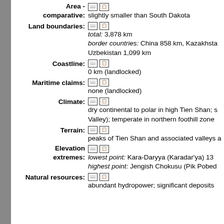Area - comparative: slightly smaller than South Dakota
Land boundaries: total: 3,878 km border countries: China 858 km, Kazakhstan ... Uzbekistan 1,099 km
Coastline: 0 km (landlocked)
Maritime claims: none (landlocked)
Climate: dry continental to polar in high Tien Shan; ... Valley); temperate in northern foothill zone
Terrain: peaks of Tien Shan and associated valleys a...
Elevation extremes: lowest point: Kara-Daryya (Karadar'ya) 13... highest point: Jengish Chokusu (Pik Pobed...
Natural resources: abundant hydropower; significant deposits ...